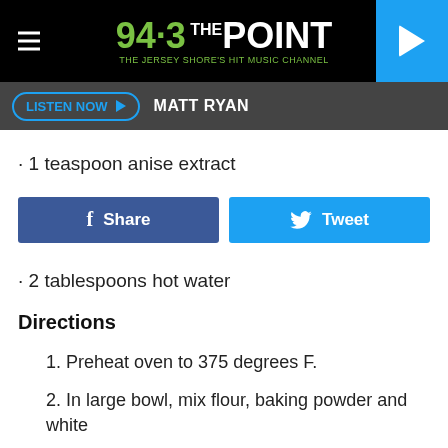94.3 THE POINT — THE JERSEY SHORE'S HIT MUSIC CHANNEL
LISTEN NOW  MATT RYAN
· 1 teaspoon anise extract
· 2 tablespoons hot water
Directions
1. Preheat oven to 375 degrees F.
2. In large bowl, mix flour, baking powder and white